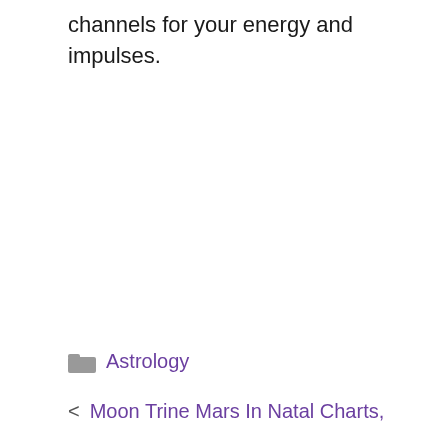channels for your energy and impulses.
Astrology
< Moon Trine Mars In Natal Charts,